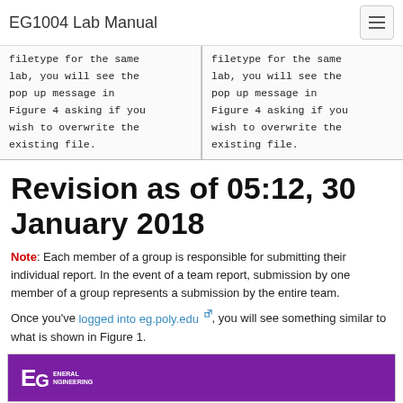EG1004 Lab Manual
| filetype for the same lab, you will see the pop up message in Figure 4 asking if you wish to overwrite the existing file. | filetype for the same lab, you will see the pop up message in Figure 4 asking if you wish to overwrite the existing file. |
Revision as of 05:12, 30 January 2018
Note: Each member of a group is responsible for submitting their individual report. In the event of a team report, submission by one member of a group represents a submission by the entire team.
Once you've logged into eg.poly.edu, you will see something similar to what is shown in Figure 1.
[Figure (screenshot): EG General Engineering purple banner logo]